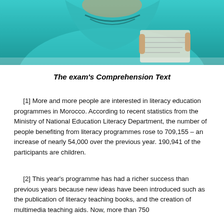[Figure (photo): Photograph of a person in a teal/turquoise garment, appearing to read or hold a document]
The exam's Comprehension Text
[1] More and more people are interested in literacy education programmes in Morocco. According to recent statistics from the Ministry of National Education Literacy Department, the number of people benefiting from literacy programmes rose to 709,155 – an increase of nearly 54,000 over the previous year. 190,941 of the participants are children.
[2] This year's programme has had a richer success than previous years because new ideas have been introduced such as the publication of literacy teaching books, and the creation of multimedia teaching aids. Now, more than 750